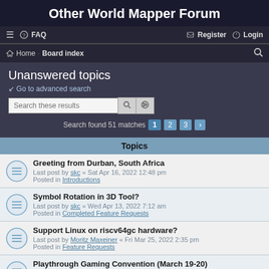Other World Mapper Forum
☰  FAQ  Register  Login
Home · Board index
Unanswered topics
Go to advanced search
Search these results
Search found 51 matches  1  2  3  >
Topics
Greeting from Durban, South Africa
Last post by skc « Sat Apr 16, 2022 12:48 pm
Posted in Introductions
Symbol Rotation in 3D Tool?
Last post by skc « Wed Apr 13, 2022 7:12 am
Posted in Completed Feature Requests
Support Linux on riscv64gc hardware?
Last post by Moritz Maxeiner « Fri Mar 25, 2022 2:35 pm
Posted in Feature Requests
Playthrough Gaming Convention (March 19-20)